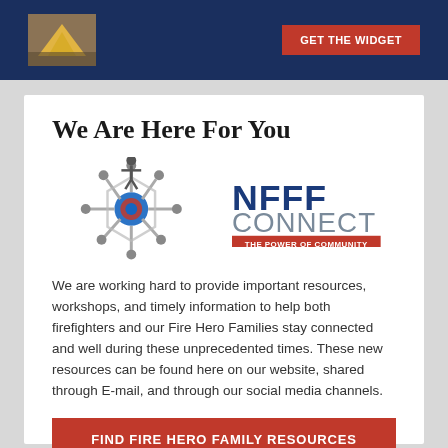[Figure (other): Dark blue banner with construction/fire scene thumbnail image on left and red 'GET THE WIDGET' button on right]
We Are Here For You
[Figure (logo): NFFF Connect logo - network of figures connected in a circle with blue center hub, text reads 'NFFF CONNECT THE POWER OF COMMUNITY']
We are working hard to provide important resources, workshops, and timely information to help both firefighters and our Fire Hero Families stay connected and well during these unprecedented times. These new resources can be found here on our website, shared through E-mail, and through our social media channels.
FIND FIRE HERO FAMILY RESOURCES
FIND FIRE SERVICE RESOURCES